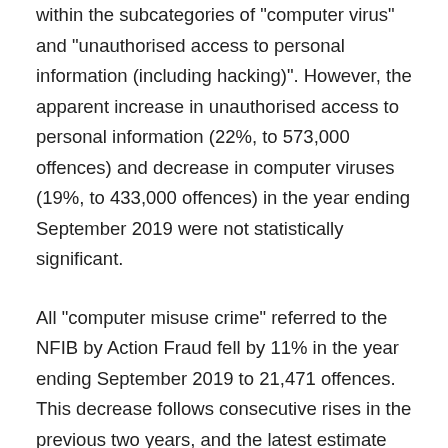within the subcategories of "computer virus" and "unauthorised access to personal information (including hacking)". However, the apparent increase in unauthorised access to personal information (22%, to 573,000 offences) and decrease in computer viruses (19%, to 433,000 offences) in the year ending September 2019 were not statistically significant.
All "computer misuse crime" referred to the NFIB by Action Fraud fell by 11% in the year ending September 2019 to 21,471 offences. This decrease follows consecutive rises in the previous two years, and the latest estimate remains 63% higher than in the year ending March 2016. The recent fall in computer misuse recorded by Action Fraud will, to some extent, have